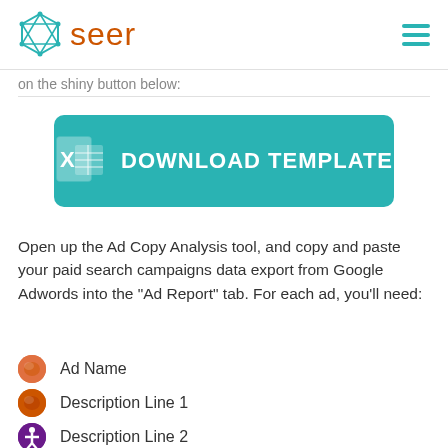seer
on the shiny button below:
[Figure (other): Teal rounded rectangle download button with Excel icon and text DOWNLOAD TEMPLATE]
Open up the Ad Copy Analysis tool, and copy and paste your paid search campaigns data export from Google Adwords into the “Ad Report” tab. For each ad, you’ll need:
Ad Name
Description Line 1
Description Line 2